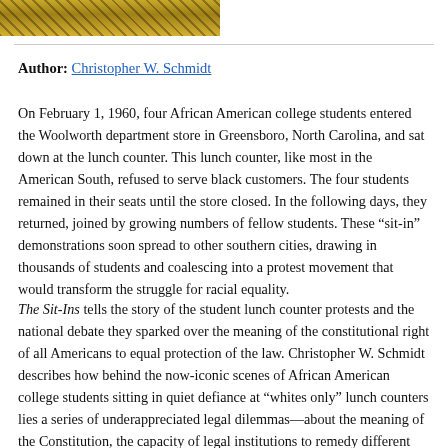[Figure (photo): Partial view of a photograph showing yellow/golden tones, likely a historical civil rights image]
Author: Christopher W. Schmidt
On February 1, 1960, four African American college students entered the Woolworth department store in Greensboro, North Carolina, and sat down at the lunch counter. This lunch counter, like most in the American South, refused to serve black customers. The four students remained in their seats until the store closed. In the following days, they returned, joined by growing numbers of fellow students. These “sit-in” demonstrations soon spread to other southern cities, drawing in thousands of students and coalescing into a protest movement that would transform the struggle for racial equality.
The Sit-Ins tells the story of the student lunch counter protests and the national debate they sparked over the meaning of the constitutional right of all Americans to equal protection of the law. Christopher W. Schmidt describes how behind the now-iconic scenes of African American college students sitting in quiet defiance at “whites only” lunch counters lies a series of underappreciated legal dilemmas—about the meaning of the Constitution, the capacity of legal institutions to remedy different